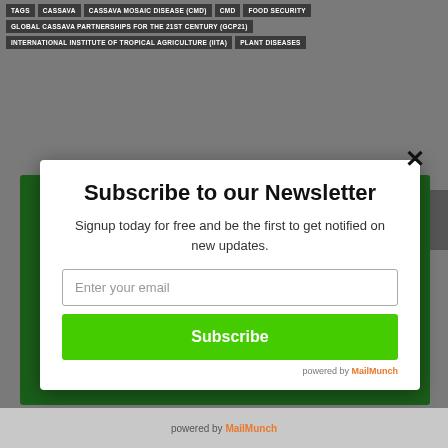TAGS | CASSAVA | CASSAVA MOSAIC DISEASE (CMD) | CMD | FOOD SECURITY | GLOBAL CASSAVA PARTNERSHIPS FOR THE 21ST CENTURY (GCP21) | INTERNATIONAL INSTITUTE OF TROPICAL AGRICULTURE (IITA) | PLANT DISEASES
Subscribe to our Newsletter
Signup today for free and be the first to get notified on new updates.
Enter your email
Subscribe
powered by MailMunch
Subscribe
powered by MailMunch